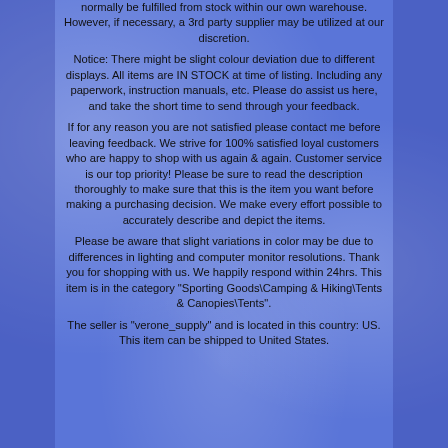normally be fulfilled from stock within our own warehouse. However, if necessary, a 3rd party supplier may be utilized at our discretion.
Notice: There might be slight colour deviation due to different displays. All items are IN STOCK at time of listing. Including any paperwork, instruction manuals, etc. Please do assist us here, and take the short time to send through your feedback.
If for any reason you are not satisfied please contact me before leaving feedback. We strive for 100% satisfied loyal customers who are happy to shop with us again & again. Customer service is our top priority! Please be sure to read the description thoroughly to make sure that this is the item you want before making a purchasing decision. We make every effort possible to accurately describe and depict the items.
Please be aware that slight variations in color may be due to differences in lighting and computer monitor resolutions. Thank you for shopping with us. We happily respond within 24hrs. This item is in the category "Sporting Goods\Camping & Hiking\Tents & Canopies\Tents".
The seller is "verone_supply" and is located in this country: US. This item can be shipped to United States.